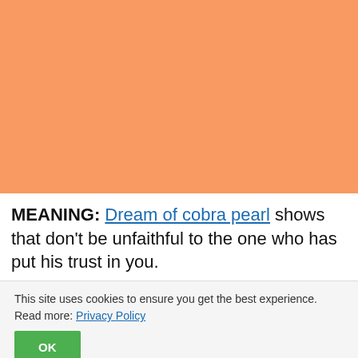[Figure (other): Large orange/salmon colored rectangular block filling the upper portion of the page]
MEANING: Dream of cobra pearl shows that don't be unfaithful to the one who has put his trust in you.
This site uses cookies to ensure you get the best experience. Read more: Privacy Policy
OK